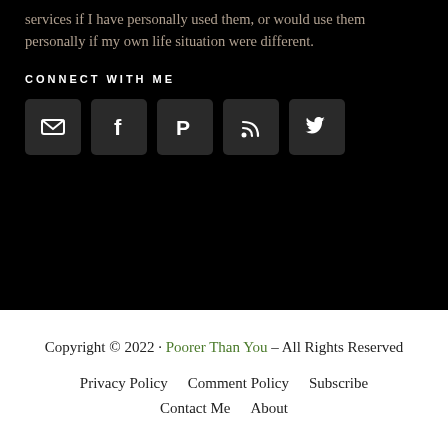services if I have personally used them, or would use them personally if my own life situation were different.
CONNECT WITH ME
[Figure (other): Five social media icon buttons: Email, Facebook, Pinterest, RSS, Twitter]
Copyright © 2022 · Poorer Than You – All Rights Reserved
Privacy Policy   Comment Policy   Subscribe   Contact Me   About